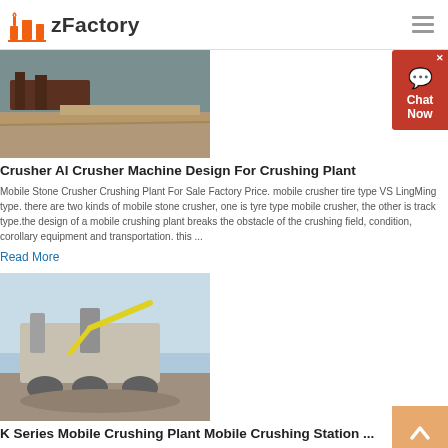zFactory
[Figure (photo): Aerial view of a crusher/stone crushing plant operation site with machinery and dirt roads]
Crusher Al Crusher Machine Design For Crushing Plant
Mobile Stone Crusher Crushing Plant For Sale Factory Price. mobile crusher tire type VS LingMing type. there are two kinds of mobile stone crusher, one is tyre type mobile crusher, the other is track type.the design of a mobile crushing plant breaks the obstacle of the crushing field, condition, corollary equipment and transportation. this ...
Read More
[Figure (photo): K Series Mobile Crushing Plant / Mobile Crushing Station with excavator in background]
K Series Mobile Crushing Plant Mobile Crushing Station ...
K Series Mobile Crushing Plant Mobile Crushing Station , Find Complete